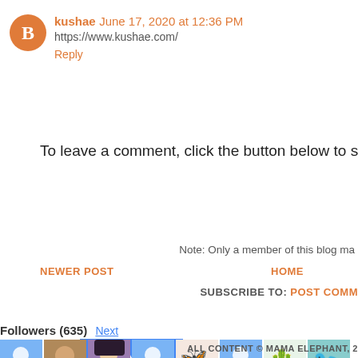kushae  June 17, 2020 at 12:36 PM
https://www.kushae.com/
Reply
To leave a comment, click the button below to sign in with G
SIGN IN WITH GOOGLE
Note: Only a member of this blog ma
NEWER POST
HOME
SUBSCRIBE TO: POST COMM
Followers (635) Next
[Figure (illustration): Row of follower avatar thumbnails showing profile photos and default blue person icons]
Follow
ALL CONTENT © MAMA ELEPHANT, 2